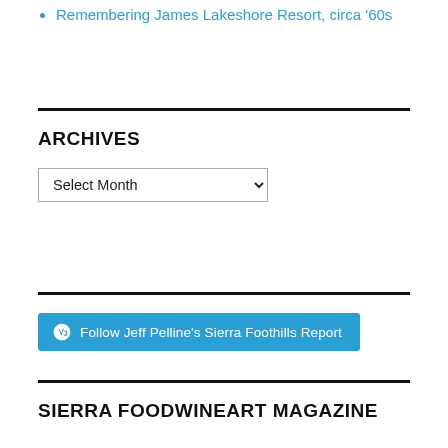Remembering James Lakeshore Resort, circa '60s
ARCHIVES
Select Month (dropdown)
[Figure (other): WordPress Follow button: Follow Jeff Pelline's Sierra Foothills Report]
SIERRA FOODWINEART MAGAZINE